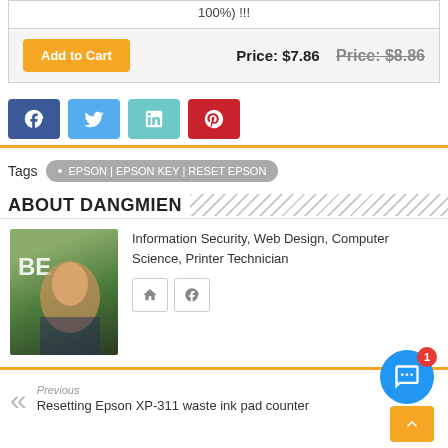100%) !!!
Add to Cart  Price: $7.86  Price: $8.86
[Figure (other): Social share buttons: Facebook (blue), Twitter (light blue), LinkedIn (teal), Pinterest (red)]
Tags  • EPSON|EPSON KEY|RESET EPSON
ABOUT DANGMIEN
Information Security, Web Design, Computer Science, Printer Technician
[Figure (photo): Profile photo of a young man in front of green foliage, with 'BE' text overlay]
Previous
Resetting Epson XP-311 waste ink pad counter